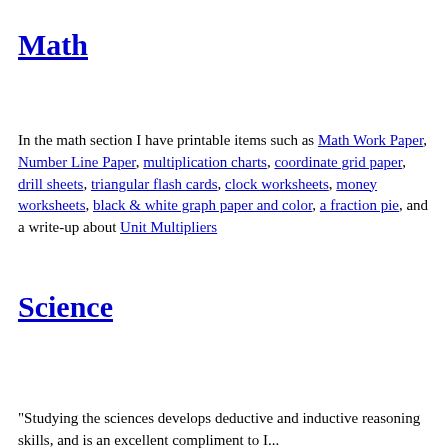Math
In the math section I have printable items such as Math Work Paper, Number Line Paper, multiplication charts, coordinate grid paper, drill sheets, triangular flash cards, clock worksheets, money worksheets, black & white graph paper and color, a fraction pie, and a write-up about Unit Multipliers
Science
"Studying the sciences develops deductive and inductive reasoning skills, and is an excellent compliment to I...